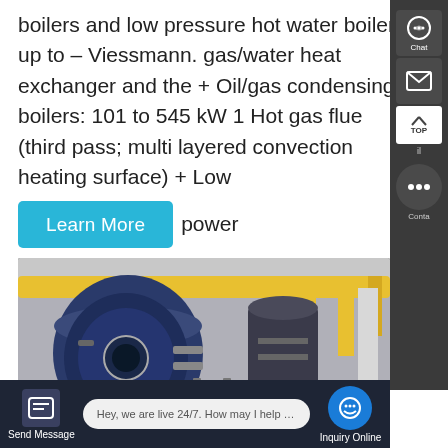boilers and low pressure hot water boilers up to – Viessmann. gas/water heat exchanger and the + Oil/gas condensing boilers: 101 to 545 kW 1 Hot gas flue (third pass; multi layered convection heating surface) + Low [Learn More] power
[Figure (photo): Industrial boiler room with large blue cylindrical boiler units and yellow overhead pipes/ducts in a factory setting]
Contact us now!
Hey, we are live 24/7. How may I help you?
Send Message
Inquiry Online